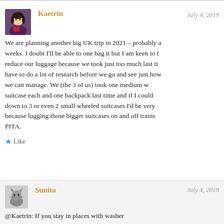Kaetrin
July 4, 2019
We are planning another big UK trip in 2021 – probably a weeks. I doubt I'll be able to one bag it but I am keen to reduce our luggage because we took just too much last ti have to do a lot of research before we go and see just how we can manage. We (the 3 of us) took one medium w suitcase each and one backpack last time and if I could down to 3 or even 2 small wheeled suitcases I'd be very because lugging those bigger suitcases on and off trains PITA.
Like
Sunita
July 4, 2019
@Kaetrin: If you stay in places with washer facilities (not always, just a few times) and take c that can be worn more than once, that cuts down